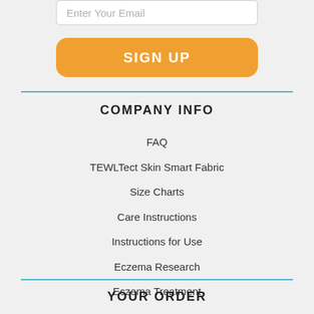Enter Your Email
SIGN UP
COMPANY INFO
FAQ
TEWLTect Skin Smart Fabric
Size Charts
Care Instructions
Instructions for Use
Eczema Research
Eczema Treatment
YOUR ORDER